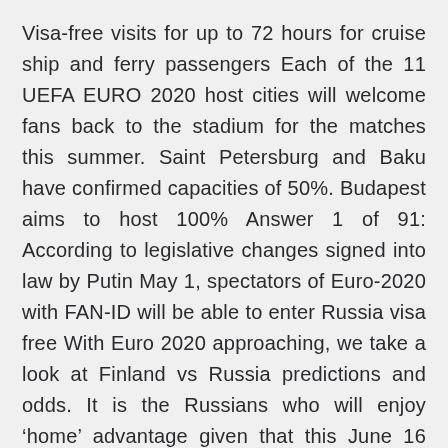Visa-free visits for up to 72 hours for cruise ship and ferry passengers Each of the 11 UEFA EURO 2020 host cities will welcome fans back to the stadium for the matches this summer. Saint Petersburg and Baku have confirmed capacities of 50%. Budapest aims to host 100% Answer 1 of 91: According to legislative changes signed into law by Putin May 1, spectators of Euro-2020 with FAN-ID will be able to enter Russia visa free With Euro 2020 approaching, we take a look at Finland vs Russia predictions and odds. It is the Russians who will enjoy ‘home’ advantage given that this June 16 fixture will take place in Saint Petersburg, and given how well they played on their own turf in World Cup 2018, they have to be respected here. Nov 18, 2019 · Source: Visa policy of Russia – Wikipedia. Also, note that tourists from all over the world on board large